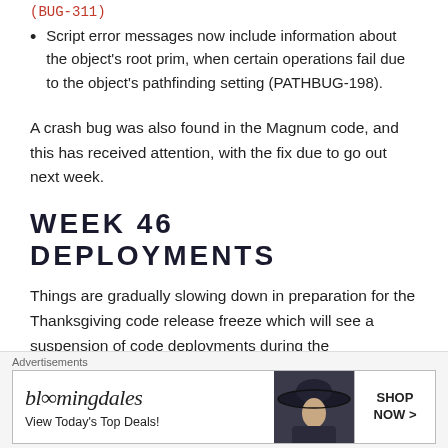(BUG-311)
Script error messages now include information about the object's root prim, when certain operations fail due to the object's pathfinding setting (PATHBUG-198).
A crash bug was also found in the Magnum code, and this has received attention, with the fix due to go out next week.
WEEK 46 DEPLOYMENTS
Things are gradually slowing down in preparation for the Thanksgiving code release freeze which will see a suspension of code deployments during the
Advertisements
[Figure (illustration): Bloomingdales advertisement banner with woman in hat and SHOP NOW button]